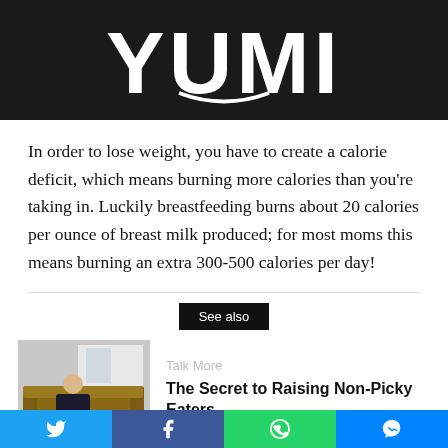[Figure (logo): YUMI logo in white text on dark background]
In order to lose weight, you have to create a calorie deficit, which means burning more calories than you’re taking in. Luckily breastfeeding burns about 20 calories per ounce of breast milk produced; for most moms this means burning an extra 300-500 calories per day!
See also
[Figure (photo): Person sitting on a brown leather sofa in a bright room]
Talk More
The Secret to Raising Non-Picky Eaters
[Figure (infographic): Social sharing bar with Twitter, Facebook, WhatsApp, and Messenger buttons]